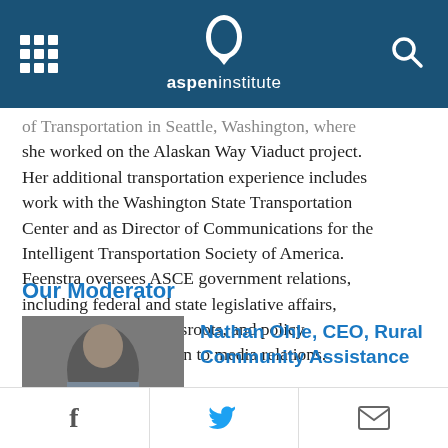aspeninstitute
of Transportation in Seattle, Washington, where she worked on the Alaskan Way Viaduct project. Her additional transportation experience includes work with the Washington State Transportation Center and as Director of Communications for the Intelligent Transportation Society of America. Feenstra oversees ASCE government relations, including federal and state legislative affairs, regulatory affairs, grassroots, and policy development in addition to media relations.
Our Moderator
[Figure (photo): Headshot photo of Nathan Ohle]
Nathan Ohle, CEO, Rural Community Assistance
Facebook | Twitter | Email